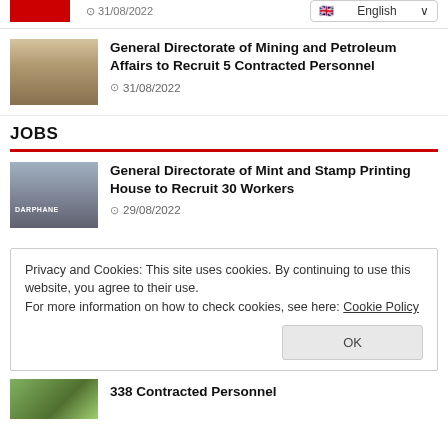[Figure (photo): Red logo/banner at top left]
31/08/2022
English (language selector dropdown)
[Figure (photo): Photo of a tall building - General Directorate of Mining and Petroleum Affairs]
General Directorate of Mining and Petroleum Affairs to Recruit 5 Contracted Personnel
31/08/2022
JOBS
[Figure (photo): Photo of Darphane (Mint) building sign]
General Directorate of Mint and Stamp Printing House to Recruit 30 Workers
29/08/2022
Privacy and Cookies: This site uses cookies. By continuing to use this website, you agree to their use.
For more information on how to check cookies, see here: Cookie Policy
OK
[Figure (photo): Green plant/nature photo at bottom]
338 Contracted Personnel